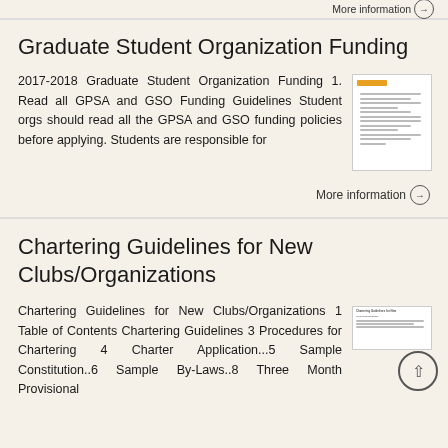More information →
Graduate Student Organization Funding
2017-2018 Graduate Student Organization Funding 1. Read all GPSA and GSO Funding Guidelines Student orgs should read all the GPSA and GSO funding policies before applying. Students are responsible for
[Figure (illustration): Thumbnail image of a document page with orange header accent and text lines]
More information →
Chartering Guidelines for New Clubs/Organizations
Chartering Guidelines for New Clubs/Organizations 1 Table of Contents Chartering Guidelines 3 Procedures for Chartering 4 Charter Application...5 Sample Constitution..6 Sample By-Laws..8 Three Month Provisional
[Figure (illustration): Thumbnail image of the Chartering Guidelines for New Clubs/Organizations document]